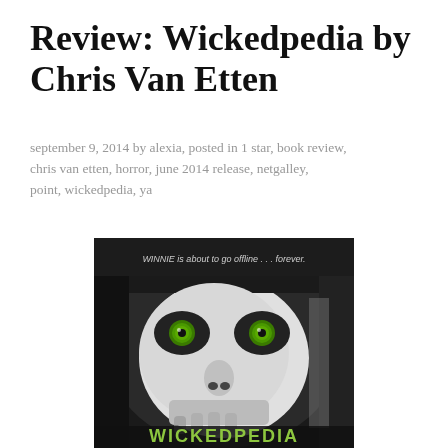Review: Wickedpedia by Chris Van Etten
september 9, 2014 by alexia, posted in 1 star, book review, chris van etten, horror, june 2014 release, netgalley, point, wickedpedia, ya
[Figure (photo): Book cover of Wickedpedia by Chris Van Etten showing a close-up of a woman's face with green eyes and skull face paint in black and white. Text at top reads 'WINNIE is about to go offline... forever.' The title WICKEDPEDIA appears at the bottom in green letters.]